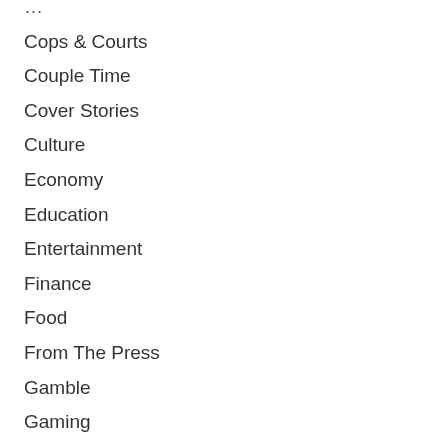Cops & Courts
Couple Time
Cover Stories
Culture
Economy
Education
Entertainment
Finance
Food
From The Press
Gamble
Gaming
General
Health
History